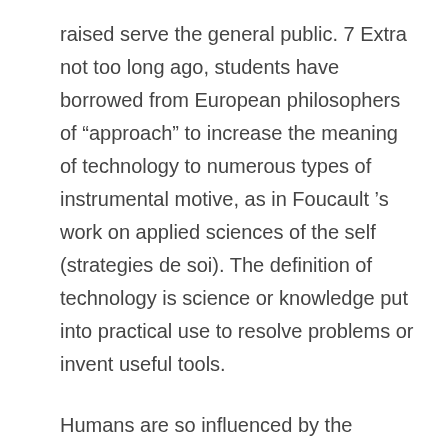raised serve the general public. 7 Extra not too long ago, students have borrowed from European philosophers of “approach” to increase the meaning of technology to numerous types of instrumental motive, as in Foucault ’s work on applied sciences of the self (strategies de soi). The definition of technology is science or knowledge put into practical use to resolve problems or invent useful tools.
Humans are so influenced by the interface of digital units that they forget the most time-honored solution to acquire details about improvements and latest technology